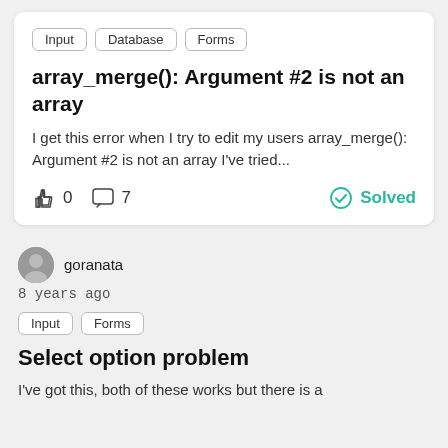Input
Database
Forms
array_merge(): Argument #2 is not an array
I get this error when I try to edit my users array_merge(): Argument #2 is not an array I've tried...
0  7  Solved
goranata
8 years ago
Input
Forms
Select option problem
I've got this, both of these works but there is a